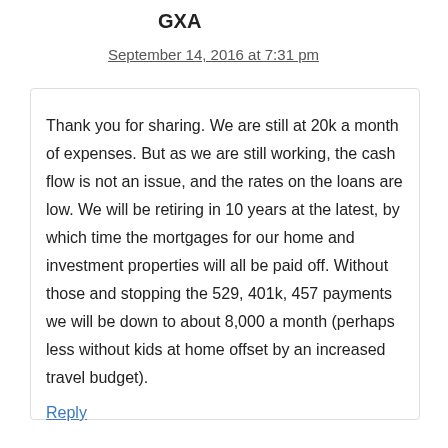GXA
September 14, 2016 at 7:31 pm
Thank you for sharing. We are still at 20k a month of expenses. But as we are still working, the cash flow is not an issue, and the rates on the loans are low. We will be retiring in 10 years at the latest, by which time the mortgages for our home and investment properties will all be paid off. Without those and stopping the 529, 401k, 457 payments we will be down to about 8,000 a month (perhaps less without kids at home offset by an increased travel budget).
Reply